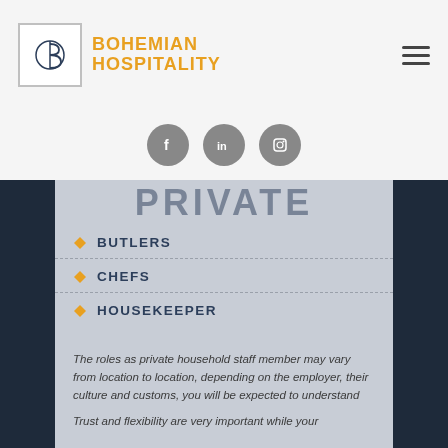[Figure (logo): Bohemian Hospitality logo with stylized B in a square frame, brand name in gold uppercase text]
[Figure (illustration): Three circular social media icons: Facebook, LinkedIn, Instagram in grey]
PRIVATE
BUTLERS
CHEFS
HOUSEKEEPER
The roles as private household staff member may vary from location to location, depending on the employer, their culture and customs, you will be expected to understand and adapt your working style.
Trust and flexibility are very important while your